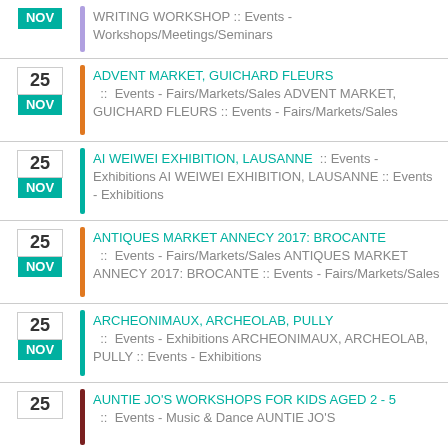WRITING WORKSHOP :: Events - Workshops/Meetings/Seminars
25 NOV ADVENT MARKET, GUICHARD FLEURS :: Events - Fairs/Markets/Sales ADVENT MARKET, GUICHARD FLEURS :: Events - Fairs/Markets/Sales
25 NOV AI WEIWEI EXHIBITION, LAUSANNE :: Events - Exhibitions AI WEIWEI EXHIBITION, LAUSANNE :: Events - Exhibitions
25 NOV ANTIQUES MARKET ANNECY 2017: BROCANTE :: Events - Fairs/Markets/Sales ANTIQUES MARKET ANNECY 2017: BROCANTE :: Events - Fairs/Markets/Sales
25 NOV ARCHEONIMAUX, ARCHEOLAB, PULLY :: Events - Exhibitions ARCHEONIMAUX, ARCHEOLAB, PULLY :: Events - Exhibitions
25 NOV AUNTIE JO'S WORKSHOPS FOR KIDS AGED 2 - 5 :: Events - Music & Dance AUNTIE JO'S